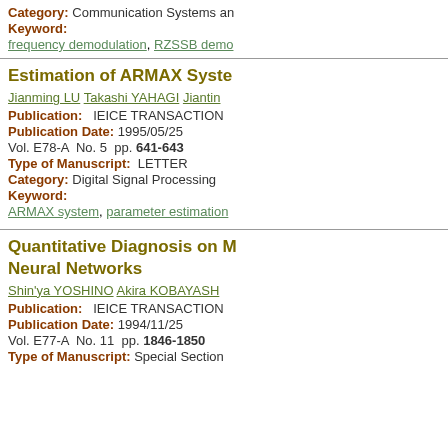Category: Communication Systems an
Keyword:
frequency demodulation, RZSSB demo
Estimation of ARMAX Syste
Jianming LU Takashi YAHAGI Jiantin
Publication: IEICE TRANSACTION
Publication Date: 1995/05/25
Vol. E78-A No. 5 pp. 641-643
Type of Manuscript: LETTER
Category: Digital Signal Processing
Keyword:
ARMAX system, parameter estimation
Quantitative Diagnosis on M Neural Networks
Shin'ya YOSHINO Akira KOBAYASH
Publication: IEICE TRANSACTION
Publication Date: 1994/11/25
Vol. E77-A No. 11 pp. 1846-1850
Type of Manuscript: Special Section